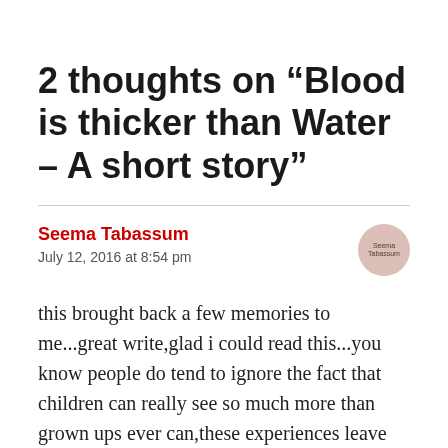2 thoughts on “Blood is thicker than Water – A short story”
Seema Tabassum
July 12, 2016 at 8:54 pm
this brought back a few memories to me...great write,glad i could read this...you know people do tend to ignore the fact that children can really see so much more than grown ups ever can,these experiences leave behind deeper footprints on